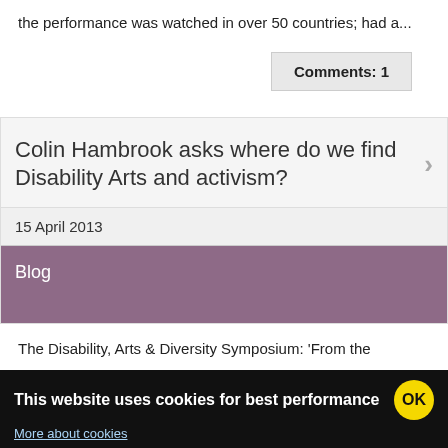the performance was watched in over 50 countries; had a...
Comments: 1
Colin Hambrook asks where do we find Disability Arts and activism?
15 April 2013
Blog
The Disability, Arts & Diversity Symposium: 'From the
This website uses cookies for best performance
More about cookies